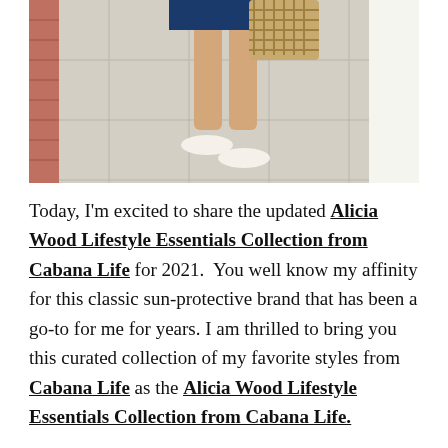[Figure (photo): Cropped photo showing the lower half of a person wearing a navy blue dress, carrying a woven straw bag, standing on light stone tile pavement wearing white flat sandals.]
Today, I'm excited to share the updated Alicia Wood Lifestyle Essentials Collection from Cabana Life for 2021.  You well know my affinity for this classic sun-protective brand that has been a go-to for me for years. I am thrilled to bring you this curated collection of my favorite styles from Cabana Life as the Alicia Wood Lifestyle Essentials Collection from Cabana Life.